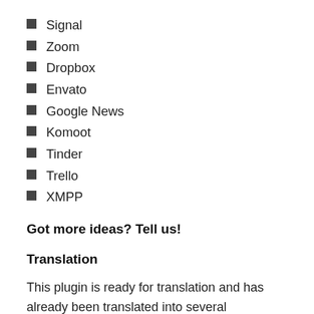Signal
Zoom
Dropbox
Envato
Google News
Komoot
Tinder
Trello
XMPP
Got more ideas? Tell us!
Translation
This plugin is ready for translation and has already been translated into several languages. But If your language is not available then you can make one. It is also possible that not all existing translations are up-to-date or correct, so you are welcome to make